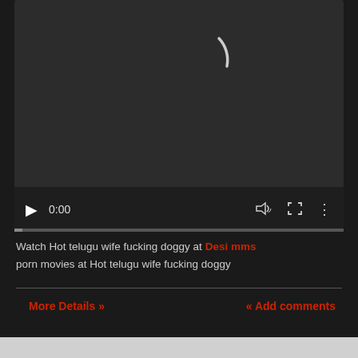[Figure (screenshot): Video player showing a dark screen with a loading spinner arc and playback controls (play button, 0:00 timestamp, volume, fullscreen, more options icons) and a progress bar at the bottom.]
Watch Hot telugu wife fucking doggy at Desi mms porn movies at Hot telugu wife fucking doggy
More Details »
<< Add comments